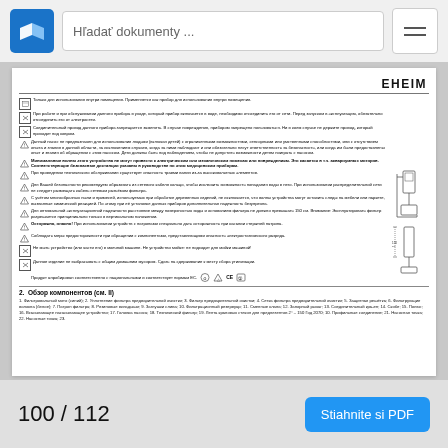Hľadať dokumenty ...
[Figure (logo): EHEIM brand logo, bold black letters]
Safety instructions in Russian language with warning icons
[Figure (engineering-diagram): Two installation diagrams showing filter setup with pipe connections]
2. Обзор компонентов (см. II)
1. Фильтровальный мото (синий); 2. Уплотнение фильтра предварительной чистки; 3. Фильтр предварительной чистки; 4. Сетка фильтра предварительной очистки; 5. Защитная решётка; 6. Фильтрующие волокна (белое); 7. Патрон фильтра; 8. Рязиновые вкладыши; 9. Заглушки слива; 10. Фильтрационный резервуар; 11. Сменные клапа; 12. Запорный рычаг; 13. Соединительный кра-ен; 14. Скобе; 15. Полюс; 16. Всасывающее насасывающее устройство; 17. Головка насоса; 18. Технический фильтр; 19. Лента крановых стекол для предлезентов 2° – 150 Год 2070; 10. Профильные соединение; 21. Насосная точка; 22. Насосные точка; 23.
100 / 112